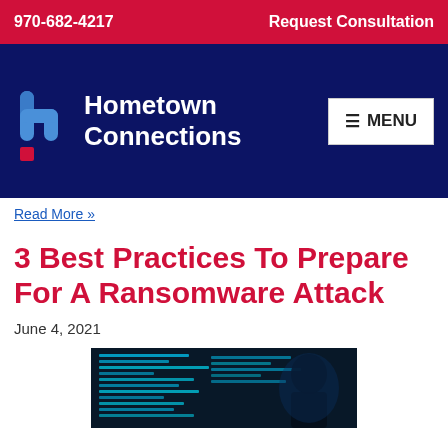970-682-4217   Request Consultation
[Figure (logo): Hometown Connections logo with stylized 'h' icon in blue and red on navy background, with white MENU button]
Read More »
3 Best Practices To Prepare For A Ransomware Attack
June 4, 2021
[Figure (photo): Dark image of a hacker silhouette with blue code/terminal text visible on screen in background]